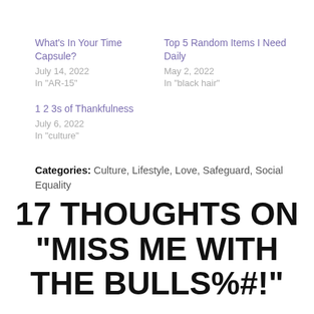What's In Your Time Capsule?
July 14, 2022
In "AR-15"
Top 5 Random Items I Need Daily
May 2, 2022
In "black hair"
1 2 3s of Thankfulness
July 6, 2022
In "culture"
Categories: Culture, Lifestyle, Love, Safeguard, Social Equality
17 THOUGHTS ON “MISS ME WITH THE BULLS%#!”